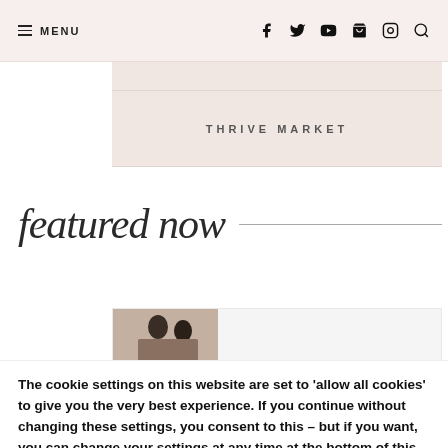≡ MENU  f  Twitter  YouTube  bag  Instagram  search
THRIVE MARKET
featured now
[Figure (photo): Partial photo of two people outdoors]
The cookie settings on this website are set to 'allow all cookies' to give you the very best experience. If you continue without changing these settings, you consent to this – but if you want, you can change your settings at any time at the bottom of this page. settings.
Accept